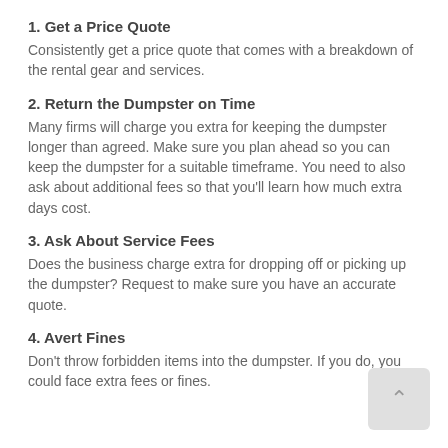1. Get a Price Quote
Consistently get a price quote that comes with a breakdown of the rental gear and services.
2. Return the Dumpster on Time
Many firms will charge you extra for keeping the dumpster longer than agreed. Make sure you plan ahead so you can keep the dumpster for a suitable timeframe. You need to also ask about additional fees so that you'll learn how much extra days cost.
3. Ask About Service Fees
Does the business charge extra for dropping off or picking up the dumpster? Request to make sure you have an accurate quote.
4. Avert Fines
Don't throw forbidden items into the dumpster. If you do, you could face extra fees or fines.